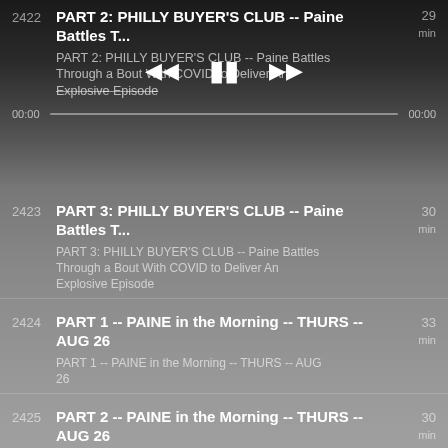2422 PART 2: PHILLY BUYER'S CLUB -- Paine Battles T... | PART 2: PHILLY BUYER'S CLUB -- Paine Battles Through a Bout With COVID to Deliver An Explosive Episode | 29 min
[Figure (screenshot): Audio player controls showing rewind, pause, and fast-forward buttons with a progress bar showing 00:00 on both ends]
2423 PART 3: PHILLY BUYER'S CLUB -- Paine Battles T... | PART 3: PHILLY BUYER'S CLUB -- Paine Battles Through a Bout With COVID to Deliver An Explosive Episode | 30 min
2424 PART 1 -- PAINE in the Morning -- THURS -- AUG 26 | PART 1 -- PAINE in the Morning -- THURS -- AUG 26 | 33 min
2425 PART 2 -- PAINE in the Morning -- THURS -- AUG 26 | PART 2 -- PAINE in the Morning -- THURS -- AUG 26 | 30 min
2426 PART 3 -- PAINE in the Morning -- THURS -- AUG 26 | PART 3 -- PAINE in the Morning -- THURS -- AUG 26 | 30 min